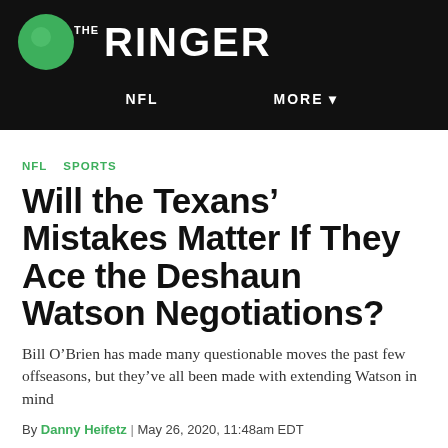THE RINGER
NFL   MORE
NFL   SPORTS
Will the Texans’ Mistakes Matter If They Ace the Deshaun Watson Negotiations?
Bill O’Brien has made many questionable moves the past few offseasons, but they’ve all been made with extending Watson in mind
By Danny Heifetz | May 26, 2020, 11:48am EDT